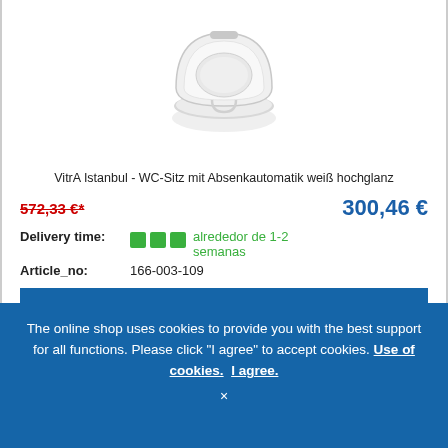[Figure (photo): White toilet seat with soft-close lid, viewed from above, partially open. Product is VitrA Istanbul WC seat.]
VitrA Istanbul - WC-Sitz mit Absenkautomatik weiß hochglanz
572,33 €*
300,46 €
Delivery time:
alrededor de 1-2 semanas
Article_no:
166-003-109
ADD TO CART
The online shop uses cookies to provide you with the best support for all functions. Please click "I agree" to accept cookies. Use of cookies. I agree.
×